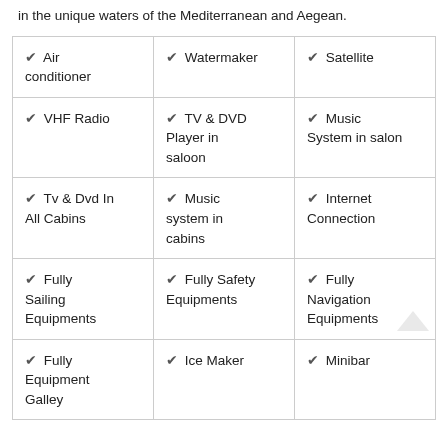in the unique waters of the Mediterranean and Aegean.
| ✔ Air conditioner | ✔ Watermaker | ✔ Satellite |
| ✔ VHF Radio | ✔ TV & DVD Player in saloon | ✔ Music System in salon |
| ✔ Tv & Dvd In All Cabins | ✔ Music system in cabins | ✔ Internet Connection |
| ✔ Fully Sailing Equipments | ✔ Fully Safety Equipments | ✔ Fully Navigation Equipments |
| ✔ Fully Equipment Galley | ✔ Ice Maker | ✔ Minibar |